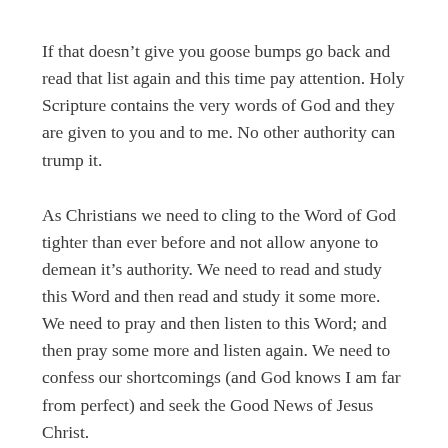If that doesn't give you goose bumps go back and read that list again and this time pay attention. Holy Scripture contains the very words of God and they are given to you and to me. No other authority can trump it.
As Christians we need to cling to the Word of God tighter than ever before and not allow anyone to demean it's authority. We need to read and study this Word and then read and study it some more. We need to pray and then listen to this Word; and then pray some more and listen again. We need to confess our shortcomings (and God knows I am far from perfect) and seek the Good News of Jesus Christ.
Don't get me wrong, I am not suggesting that you worship a book but rather worship the One whose